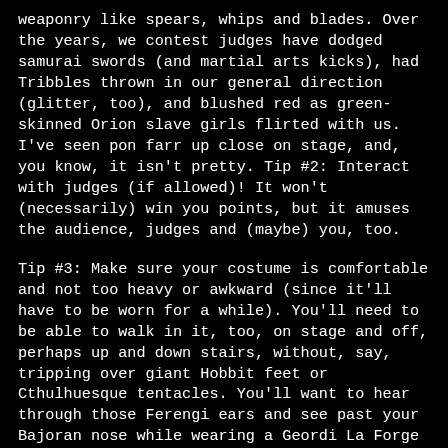weaponry like spears, whips and blades. Over the years, we contest judges have dodged samurai swords (and martial arts kicks), had Tribbles thrown in our general direction (glitter, too), and blushed red as green-skinned Orion slave girls flirted with us. I've seen pon farr up close on stage, and, you know, it isn't pretty. Tip #2: Interact with judges (if allowed)! It won't (necessarily) win you points, but it amuses the audience, judges and (maybe) you, too.
Tip #3: Make sure your costume is comfortable and not too heavy or awkward (since it'll have to be worn for a while). You'll need to be able to walk in it, too, on stage and off, perhaps up and down stairs, without, say, tripping over giant Hobbit feet or Cthulhuesque tentacles. You'll want to hear through those Ferengi ears and see past your Bajoran nose while wearing a Geordi La Forge VISOR, too. Children will certainly be present all over the place (some also in costume), and you're out in public, so ensure that your outfit strategically covers any naughty bits. Especially if you are clothed as a